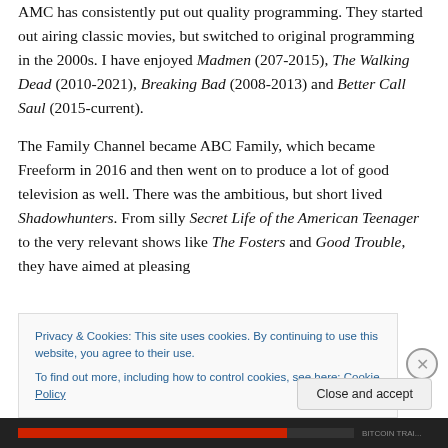AMC has consistently put out quality programming. They started out airing classic movies, but switched to original programming in the 2000s. I have enjoyed Madmen (207-2015), The Walking Dead (2010-2021), Breaking Bad (2008-2013) and Better Call Saul (2015-current).
The Family Channel became ABC Family, which became Freeform in 2016 and then went on to produce a lot of good television as well. There was the ambitious, but short lived Shadowhunters. From silly Secret Life of the American Teenager to the very relevant shows like The Fosters and Good Trouble, they have aimed at pleasing...
Privacy & Cookies: This site uses cookies. By continuing to use this website, you agree to their use.
To find out more, including how to control cookies, see here: Cookie Policy